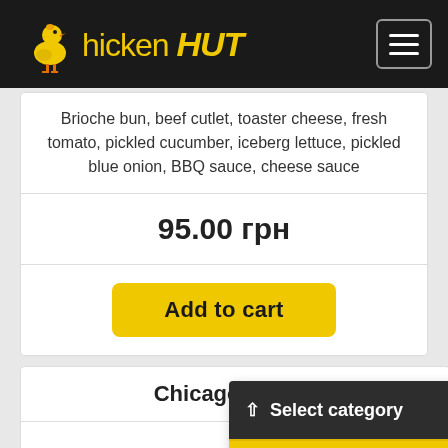Chicken HUT
Brioche bun, beef cutlet, toaster cheese, fresh tomato, pickled cucumber, iceberg lettuce, pickled blue onion, BBQ sauce, cheese sauce
95.00 грн
Add to cart
Chicago burger
Select category
Shopping cart